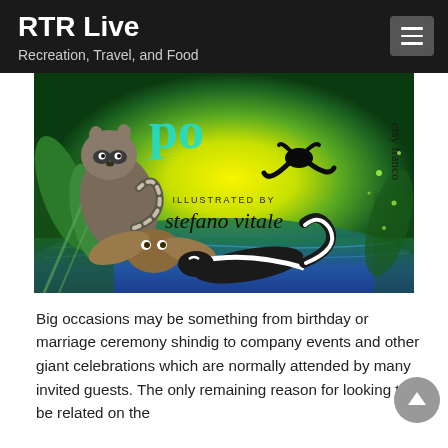RTR Live
Recreation, Travel, and Food
[Figure (photo): Book cover illustration showing animals (raccoon, owl, skunk, frog silhouette) around a glowing yellow/green pond. Text reads 'ILLUSTRATED BY stefano vitale' and partially visible 'etsy franco' along the side.]
Big occasions may be something from birthday or marriage ceremony shindig to company events and other giant celebrations which are normally attended by many invited guests. The only remaining reason for looking to be related on the